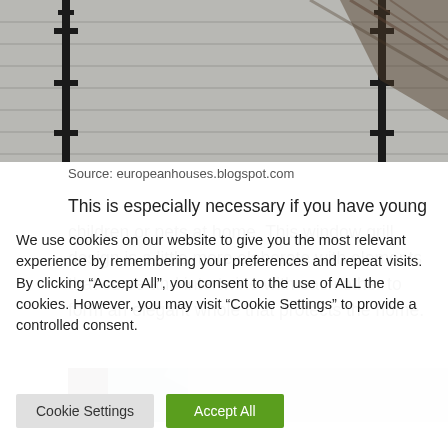[Figure (photo): Top portion of a window grill photo showing decorative iron bars with cross/ornamental elements against a light-colored wall or shutter background]
Source: europeanhouses.blogspot.com
This is especially necessary if you have young children or pets at home. This window grill design is a little more elaborate with elements that curve and intertwine with each other to form an elegant whole that protects the home.
[Figure (photo): Bottom portion of a room interior photo showing a window or wall area, partially cropped]
We use cookies on our website to give you the most relevant experience by remembering your preferences and repeat visits. By clicking “Accept All”, you consent to the use of ALL the cookies. However, you may visit “Cookie Settings” to provide a controlled consent.
Cookie Settings
Accept All